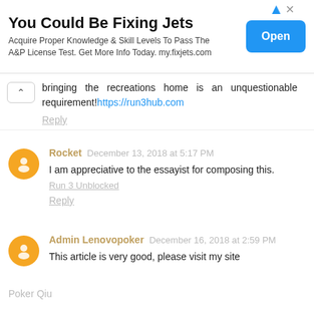[Figure (other): Advertisement banner: 'You Could Be Fixing Jets' with Open button]
bringing the recreations home is an unquestionable requirement! https://run3hub.com
Reply
Rocket  December 13, 2018 at 5:17 PM
I am appreciative to the essayist for composing this.
Run 3 Unblocked
Reply
Admin Lenovopoker  December 16, 2018 at 2:59 PM
This article is very good, please visit my site
Poker Qiu